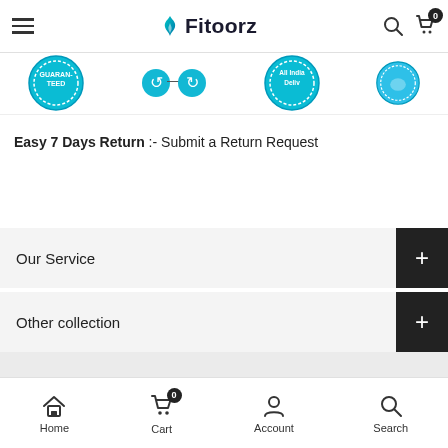Fitoorz
[Figure (logo): Fitoorz logo with teal flame icon]
[Figure (infographic): Row of teal badge icons: Guaranteed, exchange/return, All India Delivery, and another badge — partially cropped]
Easy 7 Days Return :- Submit a Return Request
Our Service
Other collection
Home  Cart  Account  Search